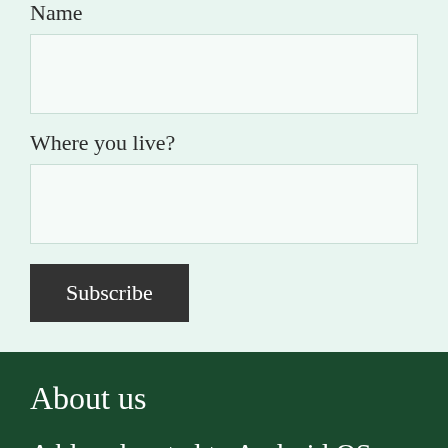Name
Where you live?
Subscribe
About us
A blog devoted to Android OS. We Cover: How tos and tutorials, List of Best Apps and Games.